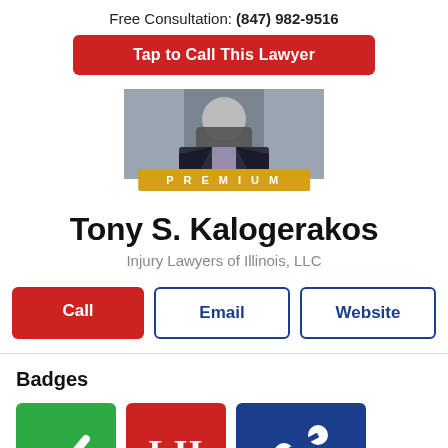Free Consultation: (847) 982-9516
Tap to Call This Lawyer
[Figure (photo): Professional headshot photo of Tony S. Kalogerakos with a PREMIUM badge overlay]
Tony S. Kalogerakos
Injury Lawyers of Illinois, LLC
Call
Email
Website
Badges
[Figure (logo): Three badges: green checkmark badge, red LII badge, navy blue share/network badge]